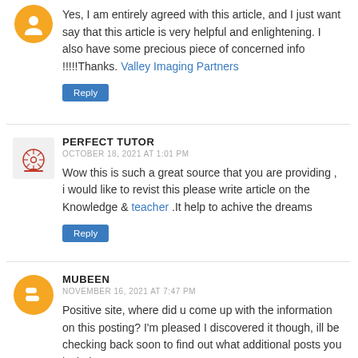Yes, I am entirely agreed with this article, and I just want say that this article is very helpful and enlightening. I also have some precious piece of concerned info !!!!!Thanks. Valley Imaging Partners
Reply
PERFECT TUTOR
OCTOBER 18, 2021 AT 1:01 PM
Wow this is such a great source that you are providing , i would like to revist this please write article on the Knowledge & teacher .It help to achive the dreams
Reply
MUBEEN
NOVEMBER 16, 2021 AT 7:47 PM
Positive site, where did u come up with the information on this posting? I'm pleased I discovered it though, ill be checking back soon to find out what additional posts you include. https://www.sacstart.org